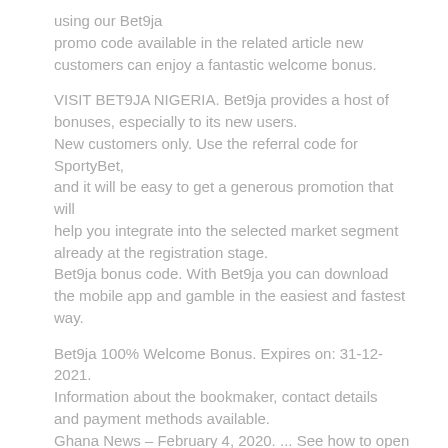using our Bet9ja promo code available in the related article new customers can enjoy a fantastic welcome bonus.
VISIT BET9JA NIGERIA. Bet9ja provides a host of bonuses, especially to its new users.
New customers only. Use the referral code for SportyBet,
and it will be easy to get a generous promotion that will
help you integrate into the selected market segment already at the registration stage.
Bet9ja bonus code. With Bet9ja you can download the mobile app and gamble in the easiest and fastest way.
Bet9ja 100% Welcome Bonus. Expires on: 31-12-2021. Information about the bookmaker, contact details and payment methods available.
Ghana News – February 4, 2020. ... See how to open an account at Bet9ja Nigeria via
desktop or create a profile on your mobile.
Bet9ja bonus offers its customers a great opportunity to boost their betting budgets.
From there, just make sure you follow the terms and